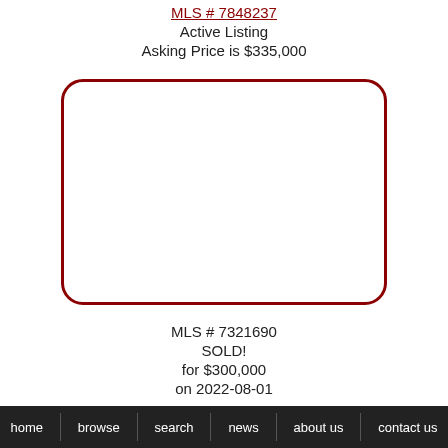MLS # 7848237
Active Listing
Asking Price is $335,000
[Figure (photo): Property photo placeholder — rounded dark red border rectangle with white interior]
MLS # 7321690
SOLD!
for $300,000
on 2022-08-01
home   browse   search   news   about us   contact us